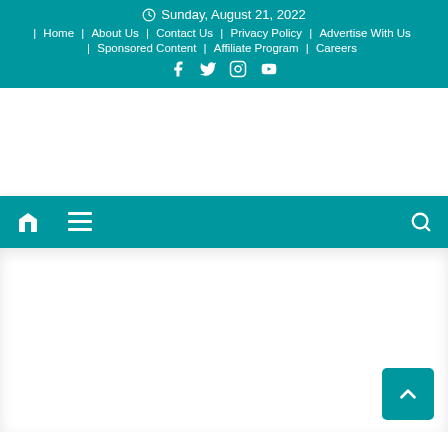Sunday, August 21, 2022
| Home | About Us | Contact Us | Privacy Policy | Advertise With Us | Sponsored Content | Affiliate Program | Careers
[Figure (other): Social media icons: Facebook, Twitter, Instagram, YouTube]
[Figure (other): Secondary navigation bar with home icon, hamburger menu icon on left and search icon on right]
[Figure (other): Back to top button (teal square with upward chevron arrow)]